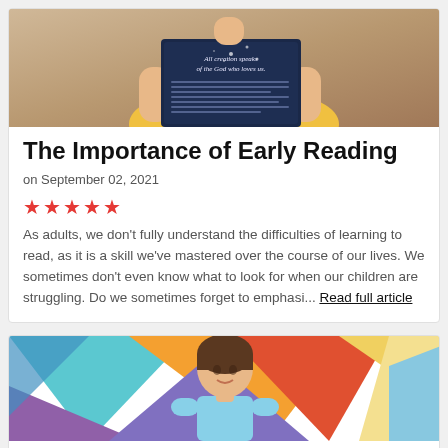[Figure (photo): Child in yellow dress holding a dark blue book with text 'All creation speaks of the God who loves us']
The Importance of Early Reading
on September 02, 2021
★★★★★
As adults, we don't fully understand the difficulties of learning to read, as it is a skill we've mastered over the course of our lives. We sometimes don't even know what to look for when our children are struggling. Do we sometimes forget to emphasi... Read full article
[Figure (photo): Young boy in light blue shirt smiling in front of a colorful geometric wall with triangles in blue, orange, teal, purple, and yellow]